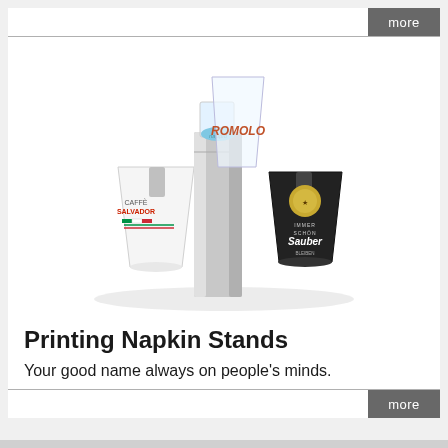more
[Figure (photo): Photo of three branded napkin stands: a white stand with 'CAFFE SALVADOR' branding, a transparent/acrylic stand with 'ROMOLO' text, and a black stand with 'sauber' branding. A metallic napkin dispenser is in the center foreground.]
Printing Napkin Stands
Your good name always on people's minds.
more